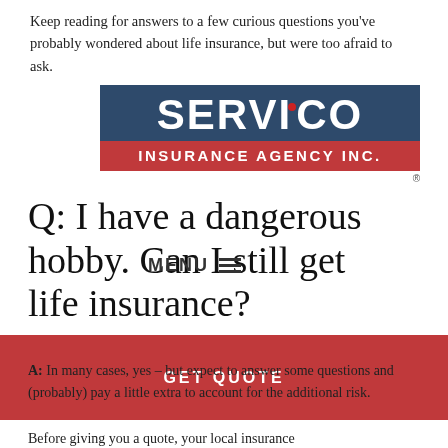Keep reading for answers to a few curious questions you've probably wondered about life insurance, but were too afraid to ask.
[Figure (logo): Servico Insurance Agency Inc. logo — dark navy blue background with large white bold text 'SERVICO' and a red dot, below a red banner reading 'INSURANCE AGENCY INC.' with a registered trademark symbol.]
Q: I have a dangerous hobby. Can I still get life insurance?
A: In many cases, yes – but expect to answer some questions and (probably) pay a little extra to account for the additional risk.
Before giving you a quote, your local insurance